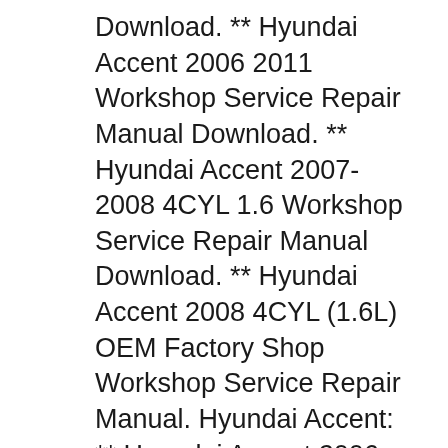Download. ** Hyundai Accent 2006 2011 Workshop Service Repair Manual Download. ** Hyundai Accent 2007-2008 4CYL 1.6 Workshop Service Repair Manual Download. ** Hyundai Accent 2008 4CYL (1.6L) OEM Factory Shop Workshop Service Repair Manual. Hyundai Accent: ** Hyundai Accent 2006 Workshop Service Repair Manual Download. ** Hyundai Accent 2006 2011 Workshop Service Repair Manual Download. ** Hyundai Accent 2007-2008 4CYL 1.6 Workshop Service Repair Manual Download. ** Hyundai Accent 2008 4CYL (1.6L) OEM Factory Shop Workshop Service Repair Manual.
Manuals and User Guides for Hyundai